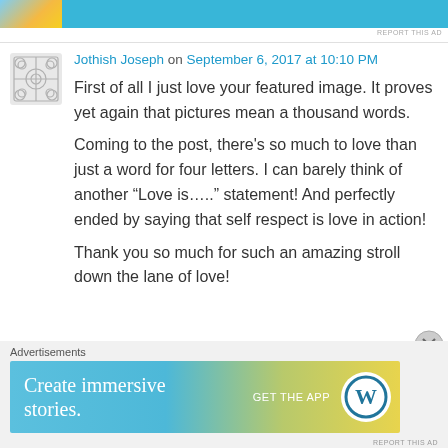[Figure (screenshot): Top advertisement banner with photo and blue background]
REPORT THIS AD
Jothish Joseph on September 6, 2017 at 10:10 PM
First of all I just love your featured image. It proves yet again that pictures mean a thousand words.
Coming to the post, there’s so much to love than just a word for four letters. I can barely think of another “Love is…..” statement! And perfectly ended by saying that self respect is love in action!
Thank you so much for such an amazing stroll down the lane of love!
Advertisements
[Figure (screenshot): WordPress advertisement banner: Create immersive stories. GET THE APP with WordPress logo]
REPORT THIS AD